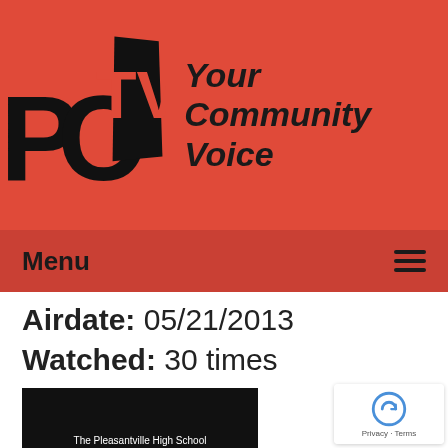[Figure (logo): PCTV logo with stylized letters PC and TV in black on red background, with tagline 'Your Community Voice' in bold italic]
Menu
Airdate: 05/21/2013
Watched: 30 times
[Figure (screenshot): Black thumbnail image showing text: The Pleasantville High School Edible Garden Ribbon Cutting of May 17, 2013]
The Pleasantville High School Edible Garden Ribbon Cutting